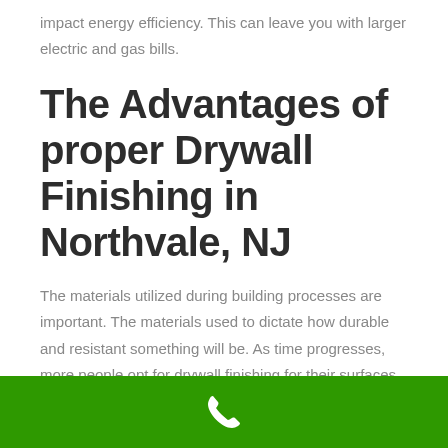impact energy efficiency. This can leave you with larger electric and gas bills.
The Advantages of proper Drywall Finishing in Northvale, NJ
The materials utilized during building processes are important. The materials used to dictate how durable and resistant something will be. As time progresses, more people opt for drywall finishing for their surfaces. They make a great decision
[Figure (other): Green bar footer with white phone icon]